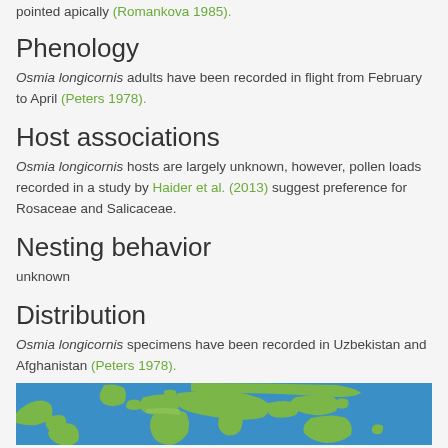pointed apically (Romankova 1985).
Phenology
Osmia longicornis adults have been recorded in flight from February to April (Peters 1978).
Host associations
Osmia longicornis hosts are largely unknown, however, pollen loads recorded in a study by Haider et al. (2013) suggest preference for Rosaceae and Salicaceae.
Nesting behavior
unknown
Distribution
Osmia longicornis specimens have been recorded in Uzbekistan and Afghanistan (Peters 1978).
[Figure (map): World map strip showing distribution, with blue ocean and green land masses]